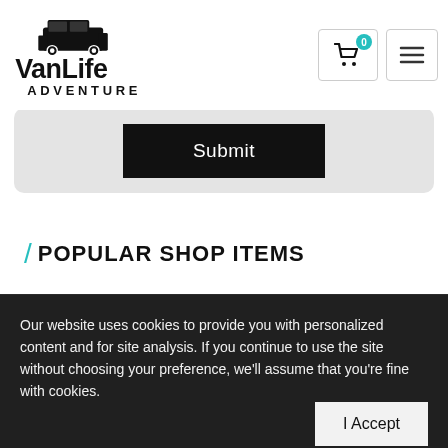[Figure (logo): VanLife Adventure logo with van icon above bold block text]
[Figure (illustration): Shopping cart icon with teal badge showing 0 and hamburger menu icon]
Submit
/ POPULAR SHOP ITEMS
Our website uses cookies to provide you with personalized content and for site analysis. If you continue to use the site without choosing your preference, we'll assume that you're fine with cookies.
I Accept